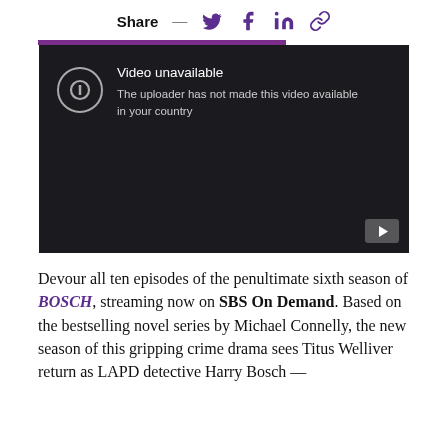Share — [Twitter] [Facebook] [LinkedIn] [Link]
[Figure (screenshot): YouTube video embed showing 'Video unavailable' message with text 'The uploader has not made this video available in your country'. Dark background with play button icon in bottom right corner.]
Devour all ten episodes of the penultimate sixth season of BOSCH, streaming now on SBS On Demand. Based on the bestselling novel series by Michael Connelly, the new season of this gripping crime drama sees Titus Welliver return as LAPD detective Harry Bosch —